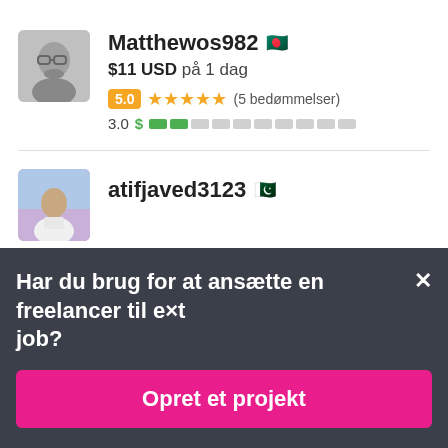[Figure (photo): Avatar of user Matthewos982 — grayscale photo of a man with glasses]
Matthewos982 🇧🇩
$11 USD på 1 dag
5.0 ★★★★★ (5 bedømmelser)
3.0 $ [competency bar]
[Figure (photo): Avatar of user atifjaved3123 — photo of a man]
atifjaved3123 🇵🇰
Har du brug for at ansætte en freelancer til et job?
Opret et projekt